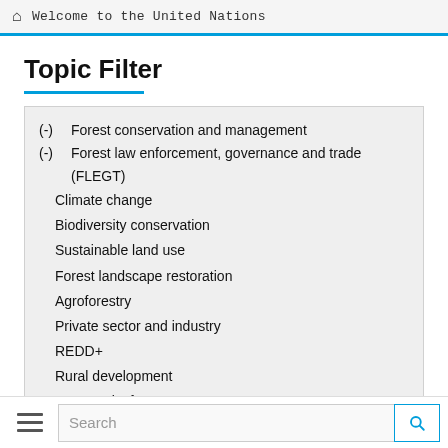Welcome to the United Nations
Topic Filter
(-) Forest conservation and management
(-) Forest law enforcement, governance and trade (FLEGT)
Climate change
Biodiversity conservation
Sustainable land use
Forest landscape restoration
Agroforestry
Private sector and industry
REDD+
Rural development
Community forestry
Renewable energy
Forest management certification